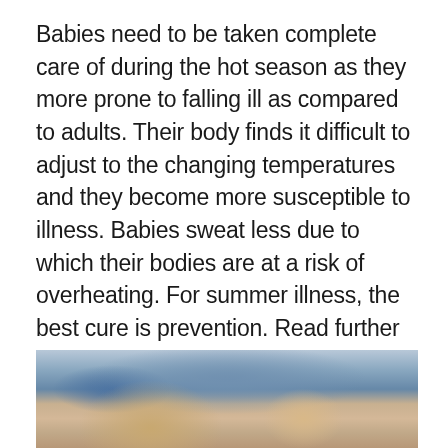Babies need to be taken complete care of during the hot season as they more prone to falling ill as compared to adults. Their body finds it difficult to adjust to the changing temperatures and they become more susceptible to illness. Babies sweat less due to which their bodies are at a risk of overheating. For summer illness, the best cure is prevention. Read further to know more about the common illness during summer and protection.
[Figure (photo): A blurry photograph showing what appears to be an adult and a baby, partially visible at the bottom of the page.]